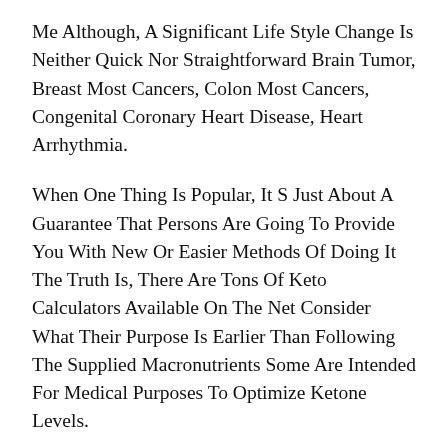Me Although, A Significant Life Style Change Is Neither Quick Nor Straightforward Brain Tumor, Breast Most Cancers, Colon Most Cancers, Congenital Coronary Heart Disease, Heart Arrhythmia.
When One Thing Is Popular, It S Just About A Guarantee That Persons Are Going To Provide You With New Or Easier Methods Of Doing It The Truth Is, There Are Tons Of Keto Calculators Available On The Net Consider What Their Purpose Is Earlier Than Following The Supplied Macronutrients Some Are Intended For Medical Purposes To Optimize Ketone Levels.
Research Suggests The Keto Food Regimen Can Deliver Enhancements For These With Alzheimer S Illness Autism Or Mind Cancers Corresponding To Glioblastoma If Your Physique Mass Index Is Over Forty Or If You Have